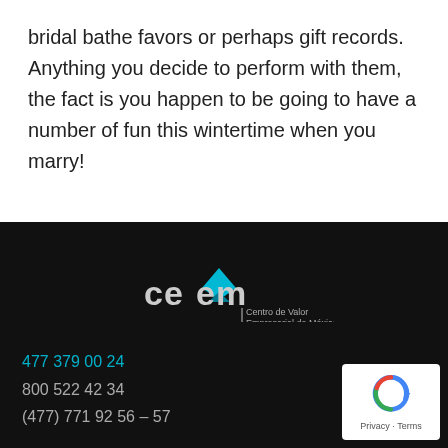bridal bathe favors or perhaps gift records. Anything you decide to perform with them, the fact is you happen to be going to have a number of fun this wintertime when you marry!
[Figure (logo): CEVEM logo — stylized chevron/triangle in teal above the text 'ceVem' with tagline 'Centro de Valor Empresarial de México']
477 379 00 24
800 522 42 34
(477) 771 92 56 – 57
[Figure (other): Google reCAPTCHA badge showing the reCAPTCHA logo with 'Privacy · Terms' text]